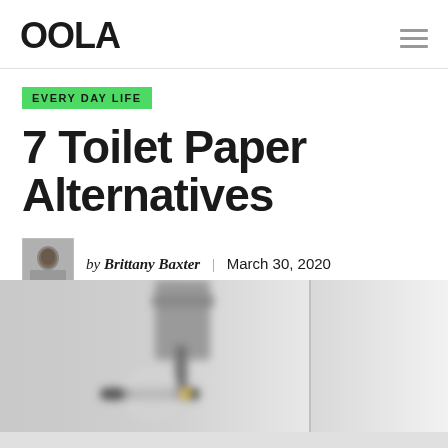OOLA
EVERY DAY LIFE
7 Toilet Paper Alternatives
by Brittany Baxter | March 30, 2020
[Figure (photo): Close-up photo of a toilet paper holder mounted on a wall, blurred/out of focus background in grey tones]